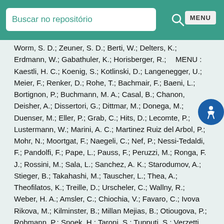Buscar no repositório
Worm, S. D.; Zeuner, S. D.; Berti, W.; Delters, K.; Erdmann, W.; Gabathuler, K.; Horisberger, R.; Kaestli, H. C.; Koenig, S.; Kotlinski, D.; Langenegger, U.; Meier, F.; Renker, D.; Rohe, T.; Bachmair, F.; Baeni, L.; Bortignon, P.; Buchmann, M. A.; Casal, B.; Chanon, N.; Deisher, A.; Dissertori, G.; Dittmar, M.; Donega, M.; Duenser, M.; Eller, P.; Grab, C.; Hits, D.; Lecomte, P.; Lustermann, W.; Marini, A. C.; Martinez Ruiz del Arbol, P.; Mohr, N.; Moortgat, F.; Naegeli, C.; Nef, P.; Nessi-Tedaldi, F.; Pandolfi, F.; Pape, L.; Pauss, F.; Peruzzi, M.; Ronga, F. J.; Rossini, M.; Sala, L.; Sanchez, A. K.; Starodumov, A.; Stieger, B.; Takahashi, M.; Tauscher, L.; Thea, A.; Theofilatos, K.; Treille, D.; Urscheler, C.; Wallny, R.; Weber, H. A.; Amsler, C.; Chiochia, V.; Favaro, C.; Ivova Rikova, M.; Kilminster, B.; Millan Mejias, B.; Otiougova, P.; Robmann, P.; Snoek, H.; Taroni, S.; Tupputi, S.; Verzetti, M.; Cardaci, M.; Chen, K. H.; Ferro, C.; Kuo, C. M.; Li, S. W.; Lin, W.; Lu, Y. J.; Volpe, R.; Yu, S. S.; Bartalini, P.; Chang, P.; Chang, Y. H.; Chang, Y. W.; Chao, Y.; Chen, K.